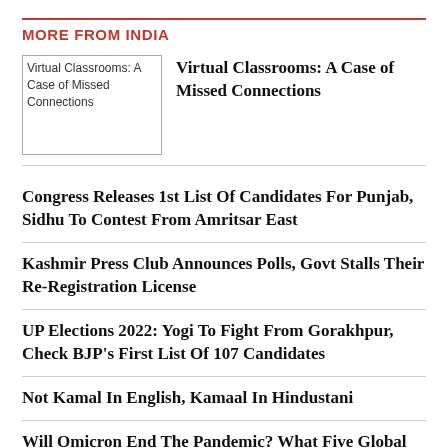MORE FROM INDIA
[Figure (photo): Thumbnail image of article: Virtual Classrooms: A Case of Missed Connections]
Virtual Classrooms: A Case of Missed Connections
Congress Releases 1st List Of Candidates For Punjab, Sidhu To Contest From Amritsar East
Kashmir Press Club Announces Polls, Govt Stalls Their Re-Registration License
UP Elections 2022: Yogi To Fight From Gorakhpur, Check BJP's First List Of 107 Candidates
Not Kamal In English, Kamaal In Hindustani
Will Omicron End The Pandemic? What Five Global Studies Say